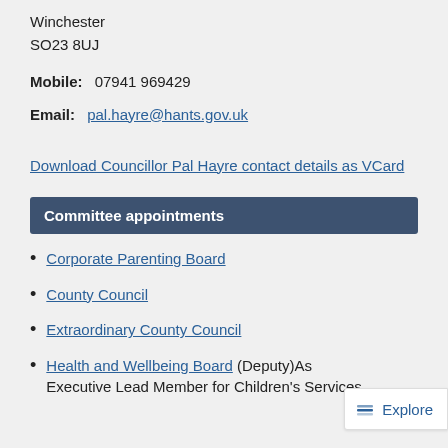Winchester
SO23 8UJ
Mobile:  07941 969429
Email:  pal.hayre@hants.gov.uk
Download Councillor Pal Hayre contact details as VCard
Committee appointments
Corporate Parenting Board
County Council
Extraordinary County Council
Health and Wellbeing Board (Deputy)As Executive Lead Member for Children's Services